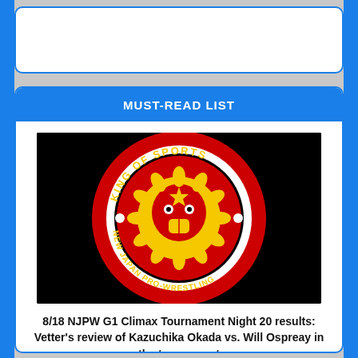MUST-READ LIST
[Figure (logo): New Japan Pro-Wrestling (NJPW) King of Sports logo — a lion head in red and yellow on a black circular background with text reading KING OF SPORTS and NEW JAPAN PRO-WRESTLING]
8/18 NJPW G1 Climax Tournament Night 20 results: Vetter's review of Kazuchika Okada vs. Will Ospreay in the tournament final,